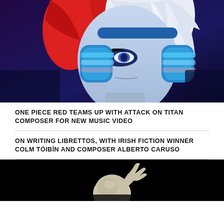[Figure (illustration): Anime character with half red, half white hair wearing large blue headphones, lit with dramatic blue/purple lighting. From One Piece Red.]
ONE PIECE RED TEAMS UP WITH ATTACK ON TITAN COMPOSER FOR NEW MUSIC VIDEO
ON WRITING LIBRETTOS, WITH IRISH FICTION WINNER COLM TÓIBÍN AND COMPOSER ALBERTO CARUSO
[Figure (photo): Black and white photo of a conductor or performer, with a bald head and raised hand, photographed from below against a black background.]